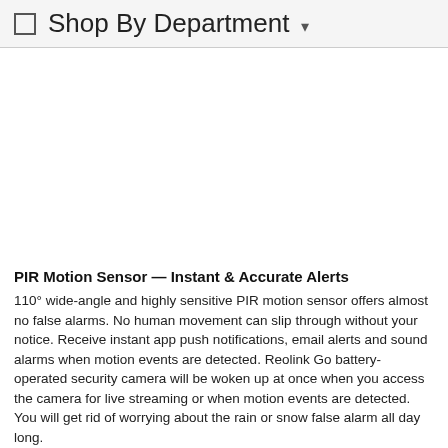☐  Shop By Department ▾
[Figure (photo): Large blank white image area, likely a product photo placeholder]
PIR Motion Sensor — Instant & Accurate Alerts
110° wide-angle and highly sensitive PIR motion sensor offers almost no false alarms. No human movement can slip through without your notice. Receive instant app push notifications, email alerts and sound alarms when motion events are detected. Reolink Go battery-operated security camera will be woken up at once when you access the camera for live streaming or when motion events are detected. You will get rid of worrying about the rain or snow false alarm all day long.